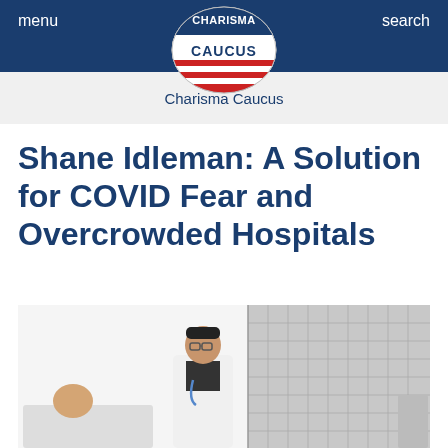menu   CHARISMA CAUCUS   search
Charisma Caucus
Shane Idleman: A Solution for COVID Fear and Overcrowded Hospitals
[Figure (photo): A doctor in a white coat with a stethoscope stands and looks at a patient lying in a hospital bed. The background shows a windowed wall with a grid pattern.]